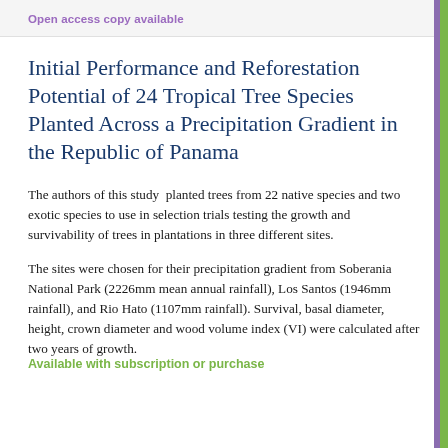Open access copy available
Initial Performance and Reforestation Potential of 24 Tropical Tree Species Planted Across a Precipitation Gradient in the Republic of Panama
The authors of this study planted trees from 22 native species and two exotic species to use in selection trials testing the growth and survivability of trees in plantations in three different sites.
The sites were chosen for their precipitation gradient from Soberania National Park (2226mm mean annual rainfall), Los Santos (1946mm rainfall), and Rio Hato (1107mm rainfall). Survival, basal diameter, height, crown diameter and wood volume index (VI) were calculated after two years of growth.
Available with subscription or purchase